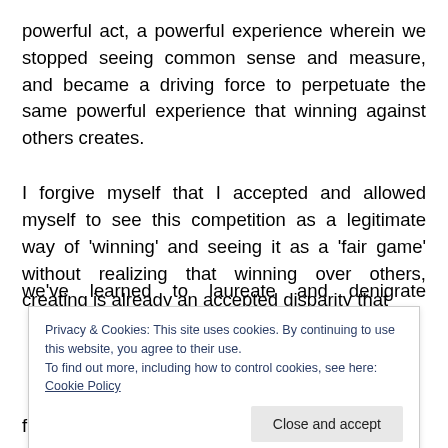powerful act, a powerful experience wherein we stopped seeing common sense and measure, and became a driving force to perpetuate the same powerful experience that winning against others creates.
I forgive myself that I accepted and allowed myself to see this competition as a legitimate way of 'winning' and seeing it as a 'fair game' without realizing that winning over others, creating is already an accepted disparity that we've learned to laureate and denigrate accordingly
Privacy & Cookies: This site uses cookies. By continuing to use this website, you agree to their use. To find out more, including how to control cookies, see here: Cookie Policy
few to be on top.